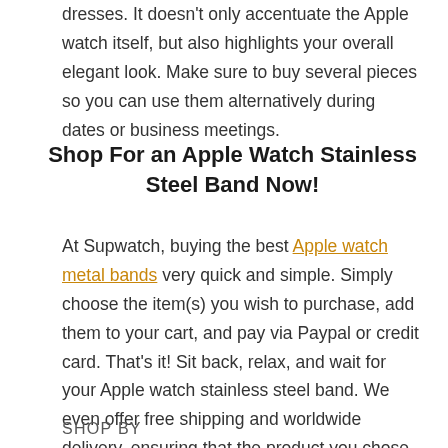dresses. It doesn't only accentuate the Apple watch itself, but also highlights your overall elegant look. Make sure to buy several pieces so you can use them alternatively during dates or business meetings.
Shop For an Apple Watch Stainless Steel Band Now!
At Supwatch, buying the best Apple watch metal bands very quick and simple. Simply choose the item(s) you wish to purchase, add them to your cart, and pay via Paypal or credit card. That's it! Sit back, relax, and wait for your Apple watch stainless steel band. We even offer free shipping and worldwide delivery, ensuring that the product you chose will be delivered right to your doorstep.
SHOP BY